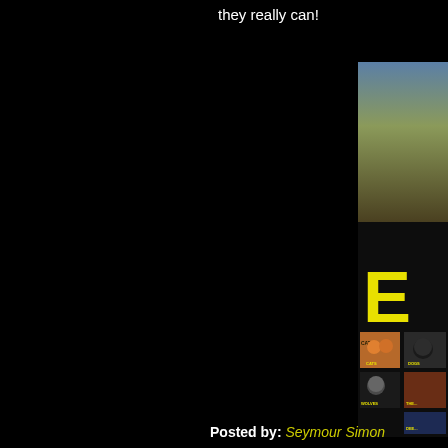they really can!
[Figure (photo): Partial view of a book cover showing animal photos including cats, dogs, wolves, and other animals with a large yellow letter 'E' visible, against a dark background with blue/brown sky at top]
Posted by: Seymour Simon